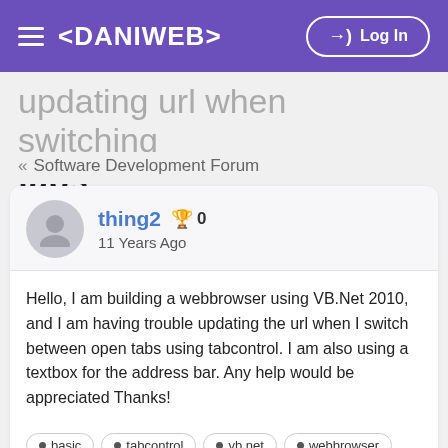DANIWEB — Log In
updating url when switching tabs
« Software Development Forum
thing2  🏆 0
11 Years Ago
Hello, I am building a webbrowser using VB.Net 2010, and I am having trouble updating the url when I switch between open tabs using tabcontrol. I am also using a textbox for the address bar. Any help would be appreciated Thanks!
basic  tabcontrol  vb.net  webbrowser
👍 0  👎 0